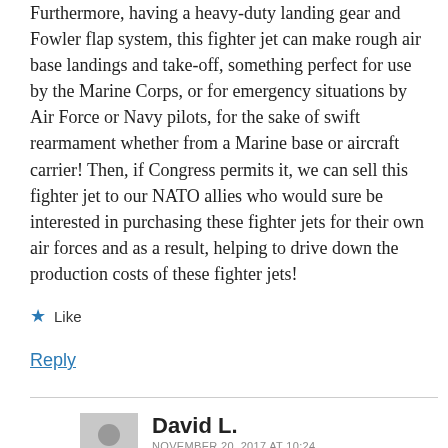Furthermore, having a heavy-duty landing gear and Fowler flap system, this fighter jet can make rough air base landings and take-off, something perfect for use by the Marine Corps, or for emergency situations by Air Force or Navy pilots, for the sake of swift rearmament whether from a Marine base or aircraft carrier! Then, if Congress permits it, we can sell this fighter jet to our NATO allies who would sure be interested in purchasing these fighter jets for their own air forces and as a result, helping to drive down the production costs of these fighter jets!
★ Like
Reply
David L.
NOVEMBER 20, 2017 AT 10:24